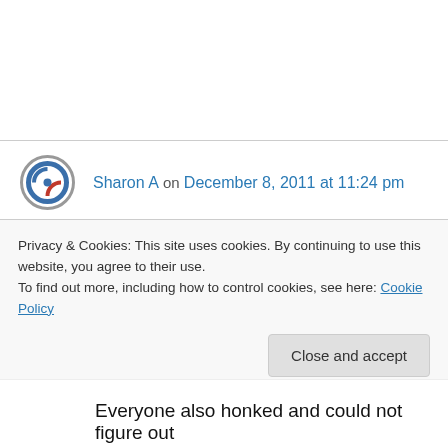[Figure (logo): Circular concentric rings avatar icon in blue, red, and gray]
Sharon A on December 8, 2011 at 11:24 pm
I walk. I only took the light rail for a few stops because it was the last free day. Another favorite this week:a police car was blocking all traffic onto Agripas. I asked people coming what happened, gee maybe a chance for my “Reuters” shot He said “ Happy Hour,
Privacy & Cookies: This site uses cookies. By continuing to use this website, you agree to their use.
To find out more, including how to control cookies, see here: Cookie Policy
Close and accept
Everyone also honked and could not figure out